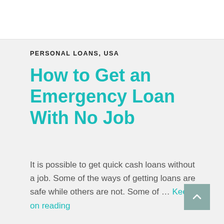PERSONAL LOANS, USA
How to Get an Emergency Loan With No Job
It is possible to get quick cash loans without a job. Some of the ways of getting loans are safe while others are not. Some of … Keep on reading